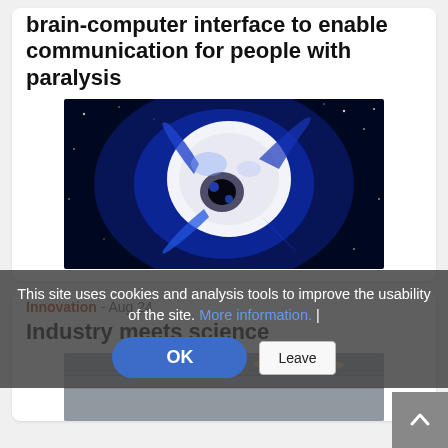brain-computer interface to enable communication for people with paralysis
[Figure (photo): Close-up photo of a biological specimen (possibly a brain or neural tissue) glowing blue against a dark background with white light spots]
Innovation - Aug 24
Industry meets science
[Figure (photo): Interior photo of a modern building or convention hall with ceiling lights]
This site uses cookies and analysis tools to improve the usability of the site. More information. |